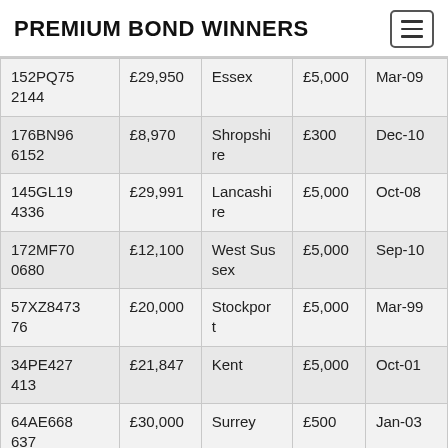PREMIUM BOND WINNERS
| Bond Number | Bond Value | Area | Prize | Date |
| --- | --- | --- | --- | --- |
| 152PQ752144 | £29,950 | Essex | £5,000 | Mar-09 |
| 176BN966152 | £8,970 | Shropshire | £300 | Dec-10 |
| 145GL194336 | £29,991 | Lancashire | £5,000 | Oct-08 |
| 172MF700680 | £12,100 | West Sussex | £5,000 | Sep-10 |
| 57XZ847376 | £20,000 | Stockport | £5,000 | Mar-99 |
| 34PE427413 | £21,847 | Kent | £5,000 | Oct-01 |
| 64AE668637 | £30,000 | Surrey | £500 | Jan-03 |
| 84PF543... | £##,### | ... | £5,000 | ... |